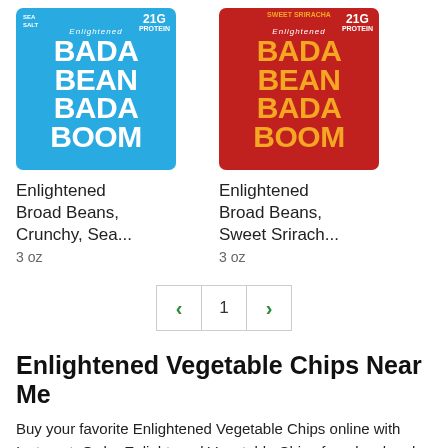[Figure (photo): Enlightened Bada Bean Bada Boom Sea Salt flavor bag, blue packaging, 3 oz]
Enlightened Broad Beans, Crunchy, Sea...
3 oz
[Figure (photo): Enlightened Bada Bean Bada Boom Sweet Sriracha flavor bag, red packaging, 3 oz]
Enlightened Broad Beans, Sweet Srirach...
3 oz
< 1 >
Enlightened Vegetable Chips Near Me
Buy your favorite Enlightened Vegetable Chips online with Instacart. Order Enlightened Vegetable Chips from local and national retailers near you and enjoy on-demand, contactless delivery or pickup within 2 hours.